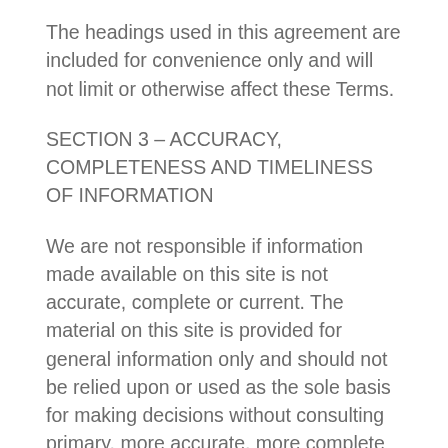The headings used in this agreement are included for convenience only and will not limit or otherwise affect these Terms.
SECTION 3 – ACCURACY, COMPLETENESS AND TIMELINESS OF INFORMATION
We are not responsible if information made available on this site is not accurate, complete or current. The material on this site is provided for general information only and should not be relied upon or used as the sole basis for making decisions without consulting primary, more accurate, more complete or more timely sources of information.